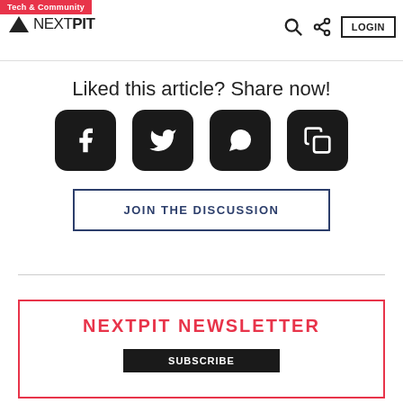Tech & Community | NEXTPIT | LOGIN
Liked this article? Share now!
[Figure (other): Social share buttons: Facebook, Twitter, WhatsApp, Copy link]
JOIN THE DISCUSSION
NEXTPIT NEWSLETTER